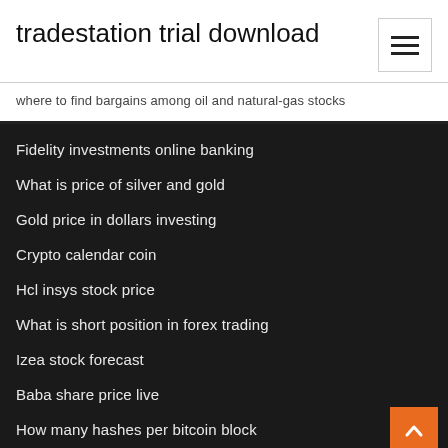tradestation trial download
where to find bargains among oil and natural-gas stocks
Fidelity investments online banking
What is price of silver and gold
Gold price in dollars investing
Crypto calendar coin
Hcl insys stock price
What is short position in forex trading
Izea stock forecast
Baba share price live
How many hashes per bitcoin block
Sng stock price